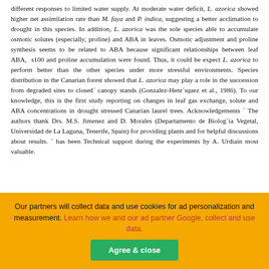different responses to limited water supply. At moderate water deficit, L. azorica showed higher net assimilation rate than M. faya and P. indica, suggesting a better acclimation to drought in this species. In addition, L. azorica was the sole species able to accumulate osmotic solutes (especially, proline) and ABA in leaves. Osmotic adjustment and proline synthesis seems to be related to ABA because significant relationships between leaf ABA, s100 and proline accumulation were found. Thus, it could be expect L. azorica to perform better than the other species under more stressful environments. Species distribution in the Canarian forest showed that L. azorica may play a role in the succession from degraded sites to closed´ canopy stands (Gonzalez-Henr´ıquez et al., 1986). To our knowledge, this is the first study reporting on changes in leaf gas exchange, solute and ABA concentrations in drought stressed Canarian laurel trees. Acknowledgements ´ The authors thank Drs. M.S. Jimenez and D. Morales (Departamento de Biolog´ia Vegetal, Universidad de La Laguna, Tenerife, Spain) for providing plants and for helpful discussions about results. ´ has been Technical support during the experiments by A. Urdiain most valuable.
Our partners will collect data and use cookies for ad personalization and measurement. Learn how we and our ad partner Google, collect and use data. [Agree & close]